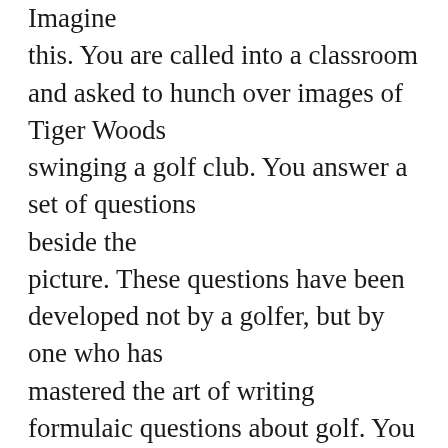Imagine this.  You are called into a classroom and asked to hunch over images of Tiger Woods swinging a golf club.  You answer a set of questions beside the picture.  These questions have been developed not by a golfer, but by one who has mastered the art of writing formulaic questions about golf.  You then compare Woods' image with the image of another golfer.  You are asked to formulate an argument on why one of their swings is superior, similar or different to the other's, what makes his grip effective, how his natural talent is reflected in his follow through.  All this and you haven't picked up a golf